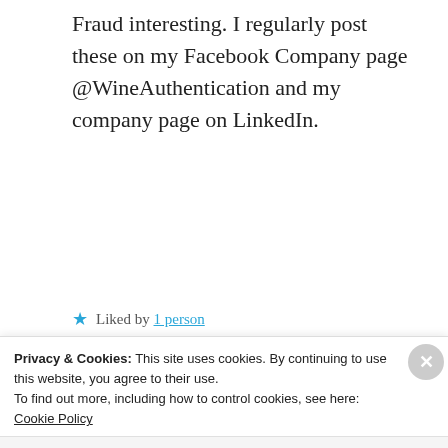Fraud interesting. I regularly post these on my Facebook Company page @WineAuthentication and my company page on LinkedIn.
★ Liked by 1 person
REPLY
Silk Road Reversed
JULY 9, 2017 AT 7:24 PM
Privacy & Cookies: This site uses cookies. By continuing to use this website, you agree to their use.
To find out more, including how to control cookies, see here: Cookie Policy
Close and accept